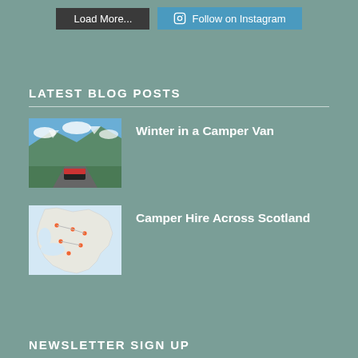[Figure (screenshot): Two buttons side by side: a dark 'Load More...' button and a blue 'Follow on Instagram' button with Instagram icon]
LATEST BLOG POSTS
[Figure (photo): Mountain valley landscape with a black and red camper van on a road, green meadows and snow-capped peaks in the background]
Winter in a Camper Van
[Figure (map): Map of Scotland showing various locations marked with pins]
Camper Hire Across Scotland
NEWSLETTER SIGN UP